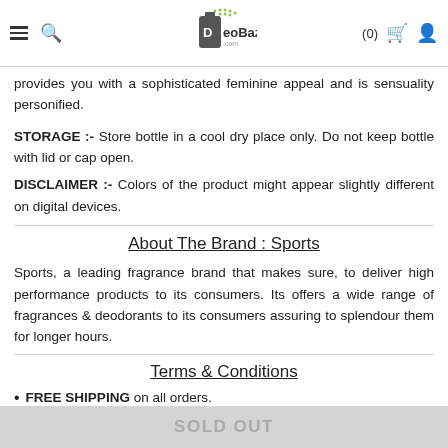DeoBazaar (0)
provides you with a sophisticated feminine appeal and is sensuality personified.
STORAGE :- Store bottle in a cool dry place only. Do not keep bottle with lid or cap open.
DISCLAIMER :- Colors of the product might appear slightly different on digital devices.
About The Brand : Sports
Sports, a leading fragrance brand that makes sure, to deliver high performance products to its consumers. Its offers a wide range of fragrances & deodorants to its consumers assuring to splendour them for longer hours.
Terms & Conditions
FREE SHIPPING on all orders.
SOLD OUT